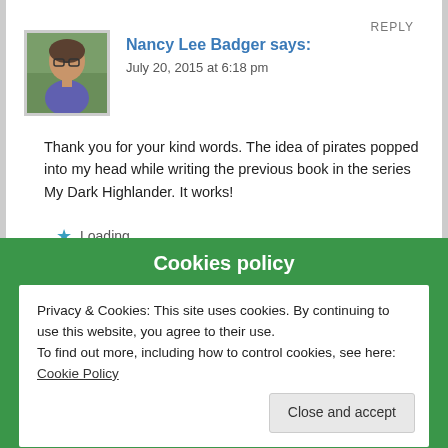REPLY
Nancy Lee Badger says:
July 20, 2015 at 6:18 pm
[Figure (photo): Avatar photo of Nancy Lee Badger, a woman with glasses outdoors with greenery in the background]
Thank you for your kind words. The idea of pirates popped into my head while writing the previous book in the series My Dark Highlander. It works!
Loading...
Cookies policy
Privacy & Cookies: This site uses cookies. By continuing to use this website, you agree to their use.
To find out more, including how to control cookies, see here: Cookie Policy
Close and accept